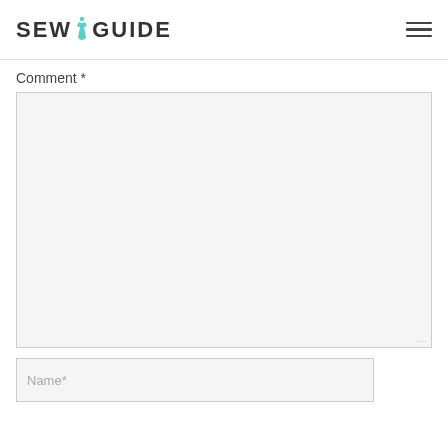SEW GUIDE
Comment *
[Figure (screenshot): Comment text area input box, empty, with resize handle at bottom right]
Name*